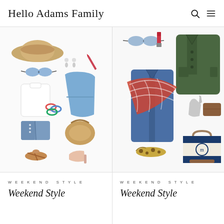Hello Adams Family
[Figure (photo): Flat lay of summer outfit: straw hat, blue sunglasses, white top, denim shorts, colorful bracelet, sandals, blue romper dress, straw bag, pink mule heels, drop earrings, lip liner]
[Figure (photo): Flat lay of fall outfit: dark green utility jacket, chambray shirt dress, plaid scarf, grey mittens, brown wallet, leopard print flats, monogrammed duffel bag, sunglasses, lip stick]
WEEKEND STYLE
Weekend Style
WEEKEND STYLE
Weekend Style